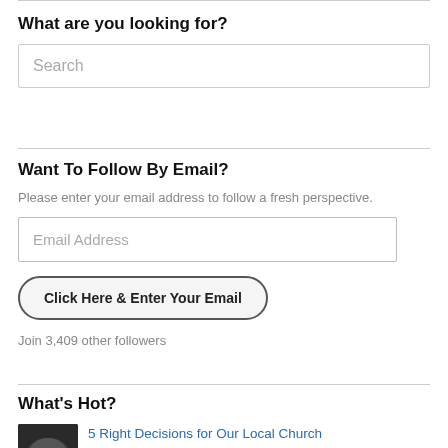What are you looking for?
[Figure (screenshot): Search input box with placeholder text 'Search']
Want To Follow By Email?
Please enter your email address to follow a fresh perspective.
[Figure (screenshot): Email address input field with placeholder 'Email Address' and button 'Click Here & Enter Your Email']
Join 3,409 other followers
What's Hot?
5 Right Decisions for Our Local Church